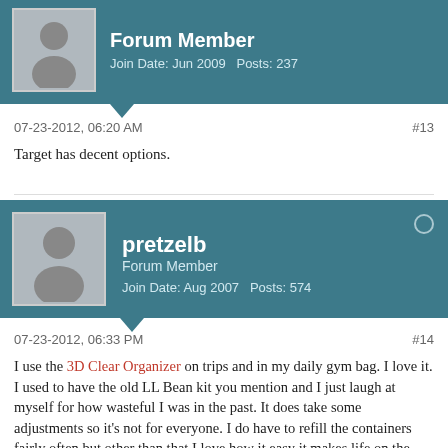[Figure (other): Forum user avatar (silhouette) with teal background header showing Forum Member, Join Date: Jun 2009, Posts: 237]
07-23-2012, 06:20 AM    #13
Target has decent options.
[Figure (other): Forum user avatar (silhouette) for pretzelb with teal background header showing Forum Member, Join Date: Aug 2007, Posts: 574]
07-23-2012, 06:33 PM    #14
I use the 3D Clear Organizer on trips and in my daily gym bag. I love it. I used to have the old LL Bean kit you mention and I just laugh at myself for how wasteful I was in the past. It does take some adjustments so it's not for everyone. I do have to refill the containers fairly often but other than that I love how it easy it makes life on the road. I found a travel toothbrush, and when possible I use hotel soap. If I need other stuff like suntan lotion I buy it upon arrival. I might be a little crazy but I thank the TSA for